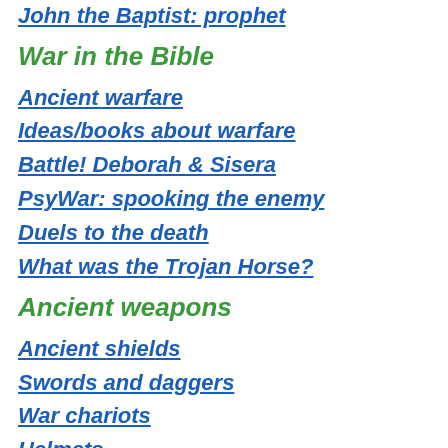John the Baptist: prophet
War in the Bible
Ancient warfare
Ideas/books about warfare
Battle! Deborah & Sisera
PsyWar: spooking the enemy
Duels to the death
What was the Trojan Horse?
Ancient weapons
Ancient shields
Swords and daggers
War chariots
Helmets